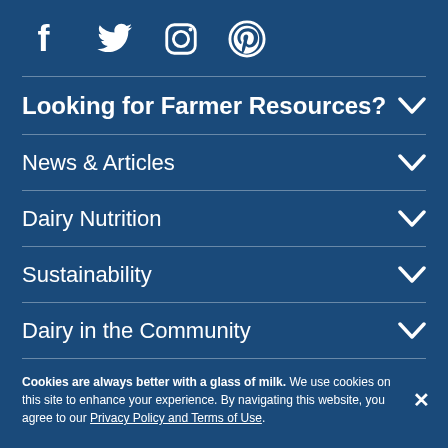[Figure (illustration): Social media icons: Facebook, Twitter, Instagram, Pinterest — white icons on dark blue background]
Looking for Farmer Resources?
News & Articles
Dairy Nutrition
Sustainability
Dairy in the Community
Cookies are always better with a glass of milk. We use cookies on this site to enhance your experience. By navigating this website, you agree to our Privacy Policy and Terms of Use.